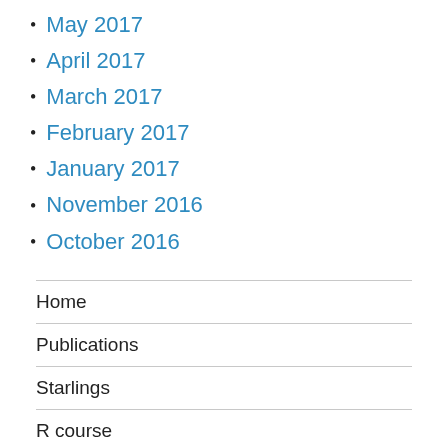May 2017
April 2017
March 2017
February 2017
January 2017
November 2016
October 2016
Home
Publications
Starlings
R course